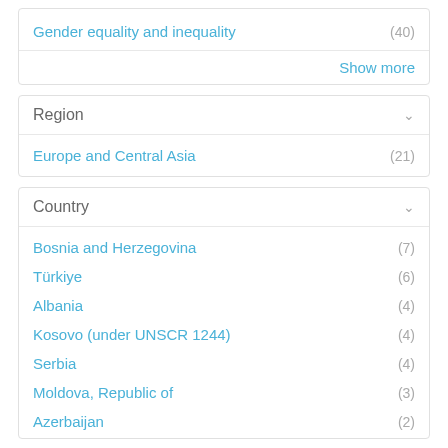Gender equality and inequality (40)
Show more
Region
Europe and Central Asia (21)
Country
Bosnia and Herzegovina (7)
Türkiye (6)
Albania (4)
Kosovo (under UNSCR 1244) (4)
Serbia (4)
Moldova, Republic of (3)
Azerbaijan (2)